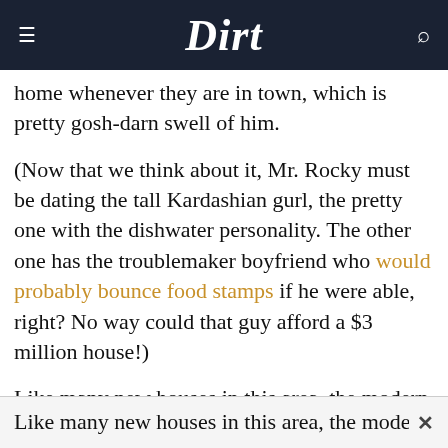Dirt
home whenever they are in town, which is pretty gosh-darn swell of him.
(Now that we think about it, Mr. Rocky must be dating the tall Kardashian gurl, the pretty one with the dishwater personality. The other one has the troublemaker boyfriend who would probably bounce food stamps if he were able, right? No way could that guy afford a $3 million house!)
Like many new houses in this area, the modern casa has